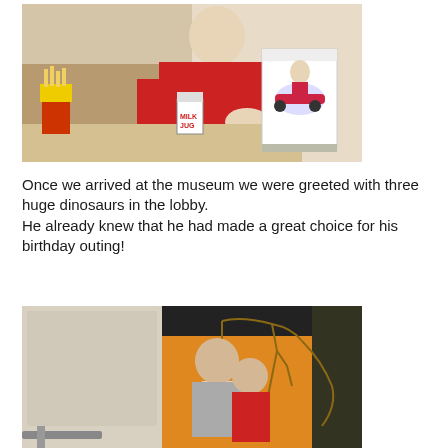[Figure (photo): Boy in red shirt sitting at a restaurant booth table with french fries, a Milk Jug drink, and a McDonald's bag with a race car coloring design on it.]
Once we arrived at the museum we were greeted with three huge dinosaurs in the lobby.
He already knew that he had made a great choice for his birthday outing!
[Figure (photo): Two people (an adult and a child) standing in a museum with orange walls and a dinosaur skeleton graphic on the wall behind them.]